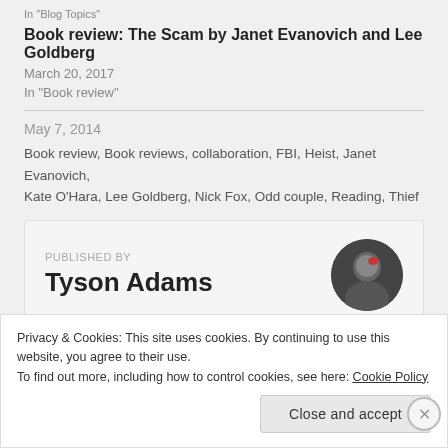In "Blog Topics"
Book review: The Scam by Janet Evanovich and Lee Goldberg
March 20, 2017
In "Book review"
May 7, 2014
Book review, Book reviews, collaboration, FBI, Heist, Janet Evanovich, Kate O'Hara, Lee Goldberg, Nick Fox, Odd couple, Reading, Thief
PUBLISHED BY
Tyson Adams
Privacy & Cookies: This site uses cookies. By continuing to use this website, you agree to their use.
To find out more, including how to control cookies, see here: Cookie Policy
Close and accept